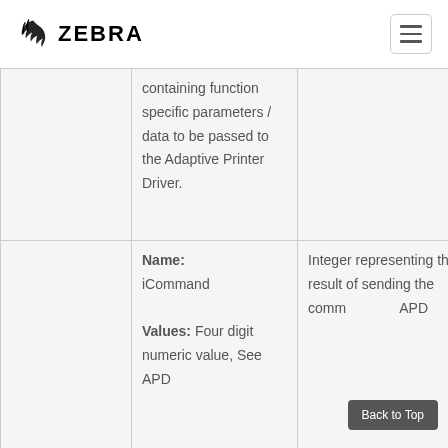ZEBRA
|  | containing function specific parameters / data to be passed to the Adaptive Printer Driver. |  |
|  | Name: iCommand
Values: Four digit numeric value, See APD | Integer representing the result of sending the comm... APD |